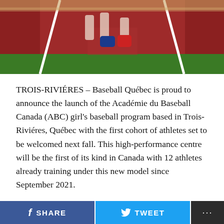[Figure (photo): Photo of athletes on a baseball field with red/brown dirt infield and green grass, white lines visible, players wearing white uniforms near home plate area with equipment bags]
TROIS-RIVIÉRES – Baseball Québec is proud to announce the launch of the Académie du Baseball Canada (ABC) girl's baseball program based in Trois-Riviéres, Québec with the first cohort of athletes set to be welcomed next fall. This high-performance centre will be the first of its kind in Canada with 12 athletes already training under this new model since September 2021.
Baseball Québec has prioritized the development of women's baseball for several years and made it one of the central parts of its strategic planning. In 2020, the Federation commissioned a comprehensive report on player development from the Better Sport team, which is
SHARE   TWEET   ...